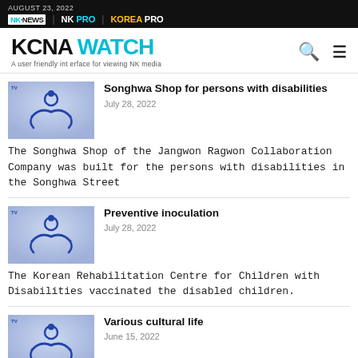AUGUST 23, 2022 | NK NEWS | NK PRO | KOREA PRO
KCNA WATCH — A user friendly interface for viewing NK media
Songhwa Shop for persons with disabilities
July 28, 2022
The Songhwa Shop of the Jangwon Ragwon Collaboration Company was built for the persons with disabilities in the Songhwa Street
Preventive inoculation
July 28, 2022
The Korean Rehabilitation Centre for Children with Disabilities vaccinated the disabled children.
Various cultural life
June 15, 2022
The DPRK football team of the deaf pays attention to football training as well as cultural and leisure activities. To this end,